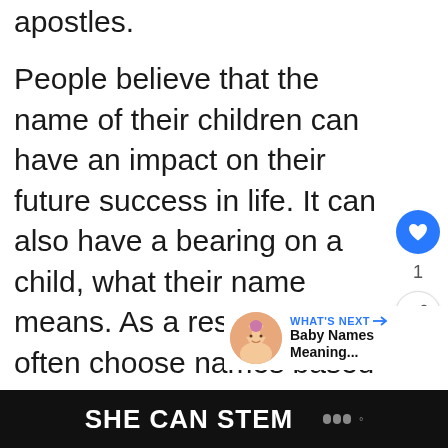apostles.
People believe that the name of their children can have an impact on their future success in life. It can also have a bearing on a child, what their name means. As a result, people often choose names based on their meanings, believing that the meaning of the child's name may reflect the nature of the child or influence the child later on.
[Figure (screenshot): WHAT'S NEXT arrow label in blue, with baby photo thumbnail and text 'Baby Names Meaning...']
SHE CAN STEM